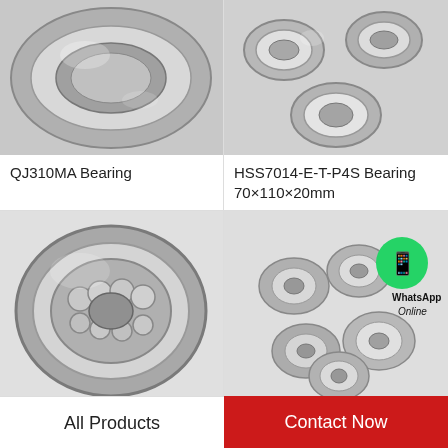[Figure (photo): Close-up photo of QJ310MA bearing - a four-point contact ball bearing with metallic finish, showing inner and outer rings]
QJ310MA Bearing
[Figure (photo): Photo of HSS7014-E-T-P4S bearing components - multiple angular contact bearings scattered showing inner and outer rings with silver metallic finish]
HSS7014-E-T-P4S Bearing 70×110×20mm
[Figure (photo): Large close-up of HSS7014-C-T-P4S self-aligning ball bearing showing multiple balls in a gray outer ring]
[Figure (photo): Photo of multiple HS7014-E-T-P4S small open bearings arranged loosely with a WhatsApp Online icon overlay]
HSS7014-C-T-P4S Bearing
HS7014-E-T-P4S Bearing
All Products
Contact Now